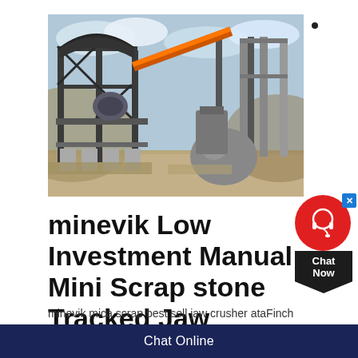[Figure (photo): Industrial mining crushing plant facility with large multi-story steel structure, conveyors, crushers, and concrete supports at a mining site with rocky terrain.]
minevik Low Investment Manual Mini Scrap stone Tracked Jaw
minevik mica scrap best sell jaw crusher ataFinch minevik mica scrap best sell jaw crusher Mica
Chat Online